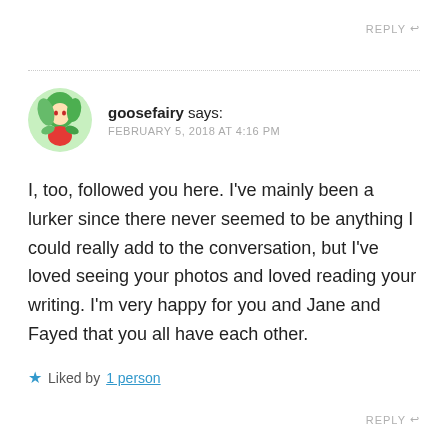REPLY ↩
goosefairy says: FEBRUARY 5, 2018 AT 4:16 PM
I, too, followed you here. I've mainly been a lurker since there never seemed to be anything I could really add to the conversation, but I've loved seeing your photos and loved reading your writing. I'm very happy for you and Jane and Fayed that you all have each other.
★ Liked by 1 person
REPLY ↩